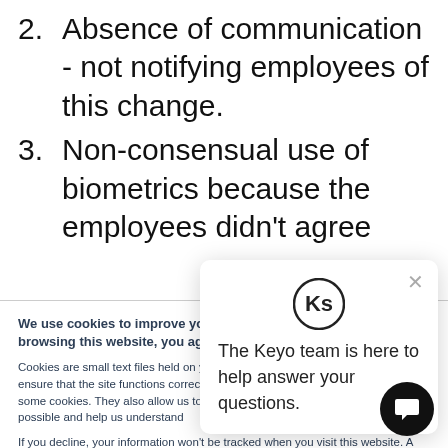2. Absence of communication - not notifying employees of this change.
3. Non-consensual use of biometrics because the employees didn't agree
We use cookies to improve your experience on our website. By browsing this website, you agree to our use of cookies.
Cookies are small text files held on your computer. Some cookies are required to ensure that the site functions correctly, for this reason we may have already set some cookies. They also allow us to give you the best browsing experience possible and help us understand how you use our site.
If you decline, your information won't be tracked when you visit this website. A single cookie will be used in your browser to remember your preference not to be tracked.
The Keyo team is here to help answer your questions.